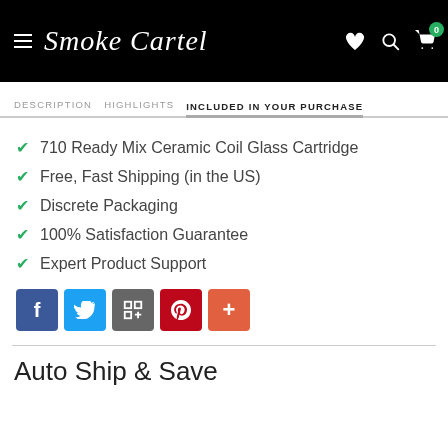Smoke Cartel
INCLUDED IN YOUR PURCHASE
710 Ready Mix Ceramic Coil Glass Cartridge
Free, Fast Shipping (in the US)
Discrete Packaging
100% Satisfaction Guarantee
Expert Product Support
[Figure (other): Social share buttons: Facebook, Twitter, Google+, Pinterest, More]
Auto Ship & Save